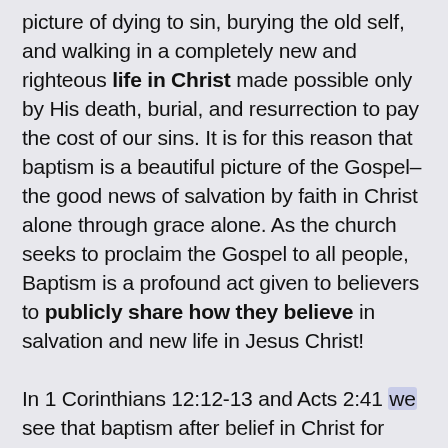picture of dying to sin, burying the old self, and walking in a completely new and righteous life in Christ made possible only by His death, burial, and resurrection to pay the cost of our sins. It is for this reason that baptism is a beautiful picture of the Gospel–the good news of salvation by faith in Christ alone through grace alone. As the church seeks to proclaim the Gospel to all people, Baptism is a profound act given to believers to publicly share how they believe in salvation and new life in Jesus Christ!

In 1 Corinthians 12:12-13 and Acts 2:41 we see that baptism after belief in Christ for